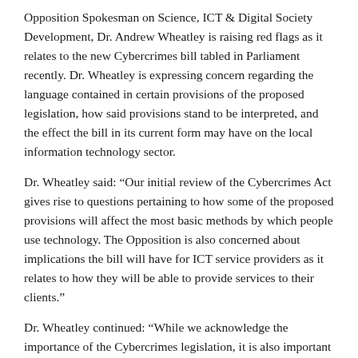Opposition Spokesman on Science, ICT & Digital Society Development, Dr. Andrew Wheatley is raising red flags as it relates to the new Cybercrimes bill tabled in Parliament recently. Dr. Wheatley is expressing concern regarding the language contained in certain provisions of the proposed legislation, how said provisions stand to be interpreted, and the effect the bill in its current form may have on the local information technology sector.
Dr. Wheatley said: “Our initial review of the Cybercrimes Act gives rise to questions pertaining to how some of the proposed provisions will affect the most basic methods by which people use technology. The Opposition is also concerned about implications the bill will have for ICT service providers as it relates to how they will be able to provide services to their clients.”
Dr. Wheatley continued: “While we acknowledge the importance of the Cybercrimes legislation, it is also important to strike the right balance between the need for enforcement of the law and a citizen’s right regarding the use of technology. As one who has the interests of the ICT sector at heart, I fear the if left unchecked, some of the sections included in the proposed bill could adversely affect the way in which people use technology and it could also have a negative impact on the growth of the local ICT sector.”